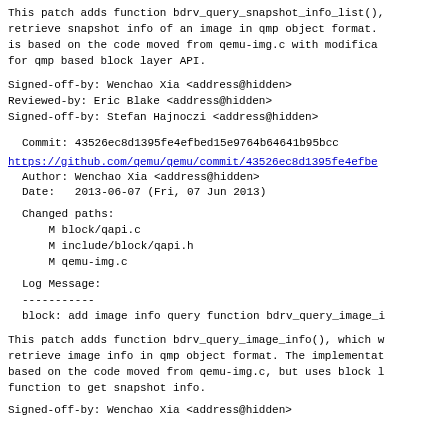This patch adds function bdrv_query_snapshot_info_list(),
retrieve snapshot info of an image in qmp object format.
is based on the code moved from qemu-img.c with modifica
for qmp based block layer API.
Signed-off-by: Wenchao Xia <address@hidden>
Reviewed-by: Eric Blake <address@hidden>
Signed-off-by: Stefan Hajnoczi <address@hidden>
Commit: 43526ec8d1395fe4efbed15e9764b64641b95bcc
https://github.com/qemu/qemu/commit/43526ec8d1395fe4efbe
Author: Wenchao Xia <address@hidden>
  Date:   2013-06-07 (Fri, 07 Jun 2013)
Changed paths:
    M block/qapi.c
    M include/block/qapi.h
    M qemu-img.c
Log Message:
  -----------
  block: add image info query function bdrv_query_image_i
This patch adds function bdrv_query_image_info(), which w
retrieve image info in qmp object format. The implementat
based on the code moved from qemu-img.c, but uses block l
function to get snapshot info.
Signed-off-by: Wenchao Xia <address@hidden>